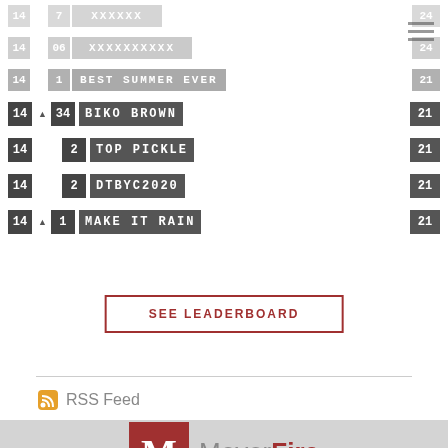[Figure (screenshot): Scoreboard leaderboard showing rows with numbers 14, rank, and player names BIKO BROWN, TOP PICKLE, DTBYC2020, MAKE IT RAIN each with score 21, faded rows at top]
SEE LEADERBOARD
RSS Feed
[Figure (logo): MeyerFire logo: red square with white M letter on left, MeyerFire text on right with Meyer in gray and Fire in dark red, on light gray background]